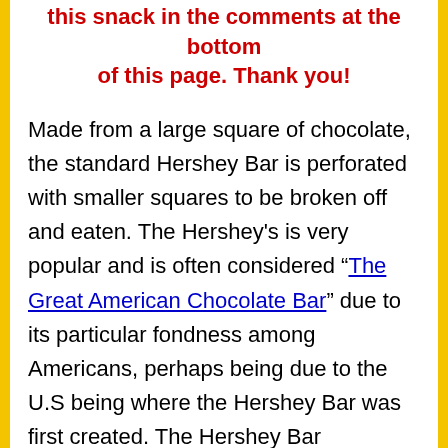this snack in the comments at the bottom of this page. Thank you!
Made from a large square of chocolate, the standard Hershey Bar is perforated with smaller squares to be broken off and eaten. The Hershey's is very popular and is often considered “The Great American Chocolate Bar” due to its particular fondness among Americans, perhaps being due to the U.S being where the Hershey Bar was first created. The Hershey Bar nonetheless has a popularity that extends worldwide, with